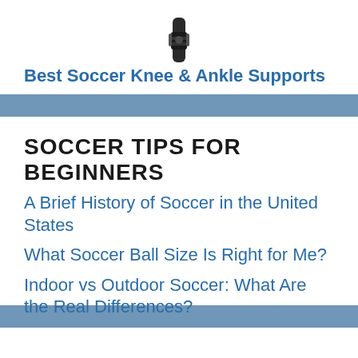[Figure (photo): Small image of a knee/ankle brace support product]
Best Soccer Knee & Ankle Supports
SOCCER TIPS FOR BEGINNERS
A Brief History of Soccer in the United States
What Soccer Ball Size Is Right for Me?
Indoor vs Outdoor Soccer: What Are the Real Differences?